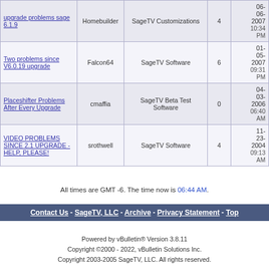| upgrade problems sage 6.1.9 | Homebuilder | SageTV Customizations | 4 | 06-06-2007 10:34 PM |
| Two problems since V6.0.19 upgrade | Falcon64 | SageTV Software | 6 | 01-05-2007 09:31 PM |
| Placeshifter Problems After Every Upgrade | cmaffia | SageTV Beta Test Software | 0 | 04-03-2006 06:40 AM |
| VIDEO PROBLEMS SINCE 2.1 UPGRADE - HELP, PLEASE! | srothwell | SageTV Software | 4 | 11-23-2004 09:13 AM |
All times are GMT -6. The time now is 06:44 AM.
Contact Us - SageTV, LLC - Archive - Privacy Statement - Top
Powered by vBulletin® Version 3.8.11
Copyright ©2000 - 2022, vBulletin Solutions Inc.
Copyright 2003-2005 SageTV, LLC. All rights reserved.